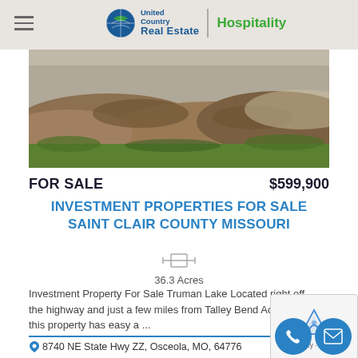United Country Real Estate | Hospitality
[Figure (photo): Aerial view of land with dirt mounds and grass, property listing photo]
FOR SALE   $599,900
INVESTMENT PROPERTIES FOR SALE SAINT CLAIR COUNTY MISSOURI
36.3 Acres
Investment Property For Sale Truman Lake Located right off the highway and just a few miles from Talley Bend Access, this property has easy a ...
8740 NE State Hwy ZZ, Osceola, MO, 64776